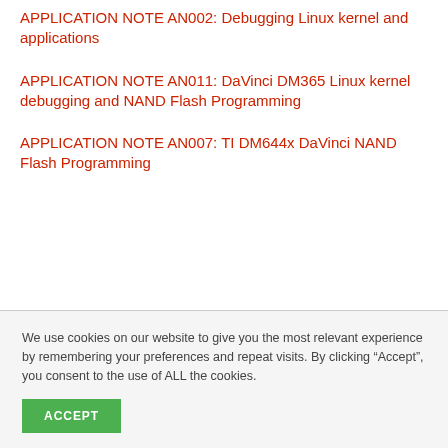APPLICATION NOTE AN002: Debugging Linux kernel and applications
APPLICATION NOTE AN011: DaVinci DM365 Linux kernel debugging and NAND Flash Programming
APPLICATION NOTE AN007: TI DM644x DaVinci NAND Flash Programming
We use cookies on our website to give you the most relevant experience by remembering your preferences and repeat visits. By clicking “Accept”, you consent to the use of ALL the cookies.